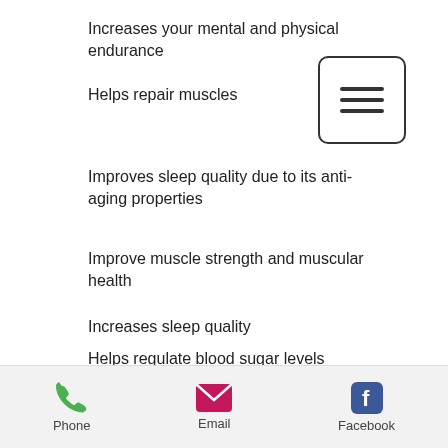Increases your mental and physical endurance
Helps repair muscles
Improves sleep quality due to its anti-aging properties
Improve muscle strength and muscular health
Increases sleep quality
Helps regulate blood sugar levels
Helps with the body's regulation of energy levels
[Figure (infographic): Menu hamburger icon — three horizontal lines in a rounded rectangle]
Phone  Email  Facebook